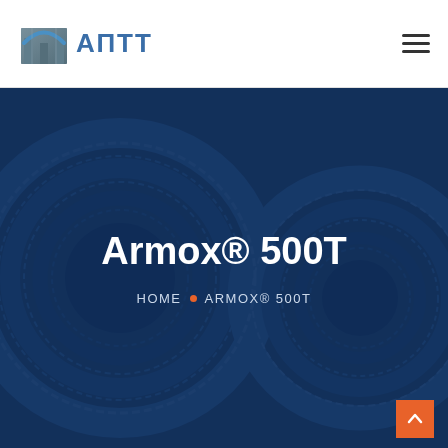[Figure (logo): АПTT company logo with stylized building/arch icon in blue and grey, followed by Cyrillic text АПTT in blue]
[Figure (photo): Background photo of large steel coils/rolls in dark blue industrial setting, with dark blue overlay. Centered text reads Armox® 500T. Breadcrumb navigation below reads HOME • ARMOX® 500T]
Armox® 500T
HOME • ARMOX® 500T